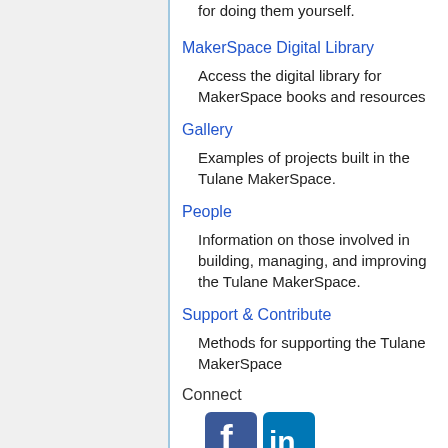for doing them yourself.
MakerSpace Digital Library
Access the digital library for MakerSpace books and resources
Gallery
Examples of projects built in the Tulane MakerSpace.
People
Information on those involved in building, managing, and improving the Tulane MakerSpace.
Support & Contribute
Methods for supporting the Tulane MakerSpace
Connect
[Figure (illustration): Facebook and LinkedIn social media icons with external link indicators]